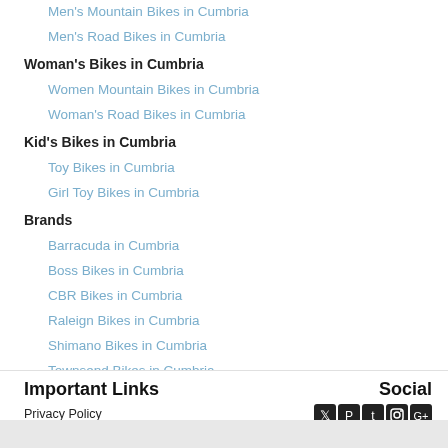Men's Mountain Bikes in Cumbria
Men's Road Bikes in Cumbria
Woman's Bikes in Cumbria
Women Mountain Bikes in Cumbria
Woman's Road Bikes in Cumbria
Kid's Bikes in Cumbria
Toy Bikes in Cumbria
Girl Toy Bikes in Cumbria
Brands
Barracuda in Cumbria
Boss Bikes in Cumbria
CBR Bikes in Cumbria
Raleign Bikes in Cumbria
Shimano Bikes in Cumbria
Townsend Bikes in Cumbria
Viking Bikes in Cumbria
Important Links
Social
Privacy Policy
Terms & Conditions
Created by © Bike Palace